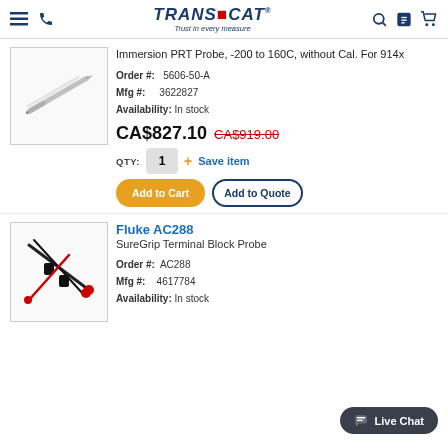TRANSCAT — Trust in every measure
[Figure (photo): Immersion PRT probe, thin metal rod with pointed tip]
Immersion PRT Probe, -200 to 160C, without Cal. For 914x
Order #: 5606-50-A
Mfg #: 3622827
Availability: In stock
CA$827.10  CA$919.00
QTY: 1  + Save item
Add to Cart   Add to Quote
[Figure (photo): Fluke AC288 SureGrip Terminal Block Probe with red and black leads]
Fluke AC288
SureGrip Terminal Block Probe
Order #: AC288
Mfg #: 4617784
Availability: In stock
Live Chat